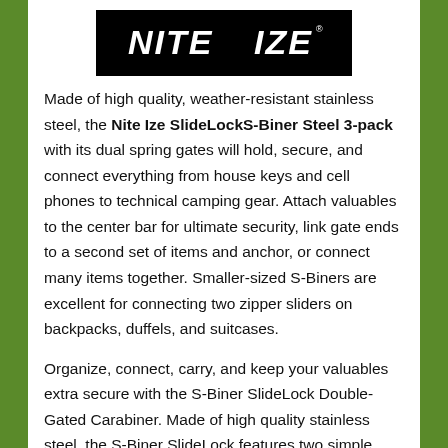[Figure (logo): Nite Ize logo — white italic bold text on black background with a yellow crescent moon between NITE and IZE]
Made of high quality, weather-resistant stainless steel, the Nite Ize SlideLockS-Biner Steel 3-pack with its dual spring gates will hold, secure, and connect everything from house keys and cell phones to technical camping gear. Attach valuables to the center bar for ultimate security, link gate ends to a second set of items and anchor, or connect many items together. Smaller-sized S-Biners are excellent for connecting two zipper sliders on backpacks, duffels, and suitcases.
Organize, connect, carry, and keep your valuables extra secure with the S-Biner SlideLock Double-Gated Carabiner. Made of high quality stainless steel, the S-Biner SlideLock features two simple, innovative plastic sliders that slide into place to keep the gates securely